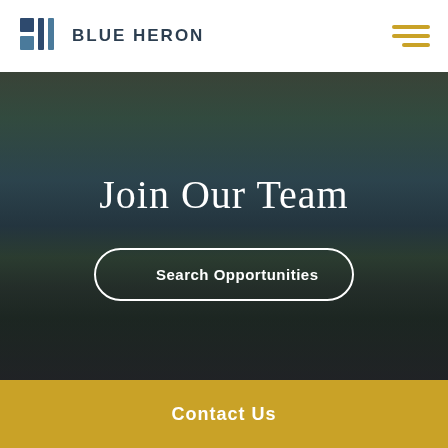BLUE HERON
[Figure (photo): Outdoor scenic background with palm trees, greenery, water, and two people standing on a walkway, overlaid with dark semi-transparent tint]
Join Our Team
Search Opportunities
Contact Us